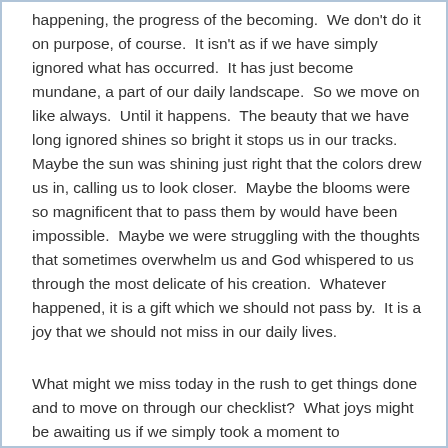happening, the progress of the becoming.  We don't do it on purpose, of course.  It isn't as if we have simply ignored what has occurred.  It has just become mundane, a part of our daily landscape.  So we move on like always.  Until it happens.  The beauty that we have long ignored shines so bright it stops us in our tracks. Maybe the sun was shining just right that the colors drew us in, calling us to look closer.  Maybe the blooms were so magnificent that to pass them by would have been impossible.  Maybe we were struggling with the thoughts that sometimes overwhelm us and God whispered to us through the most delicate of his creation.  Whatever happened, it is a gift which we should not pass by.  It is a joy that we should not miss in our daily lives.
What might we miss today in the rush to get things done and to move on through our checklist?  What joys might be awaiting us if we simply took a moment to